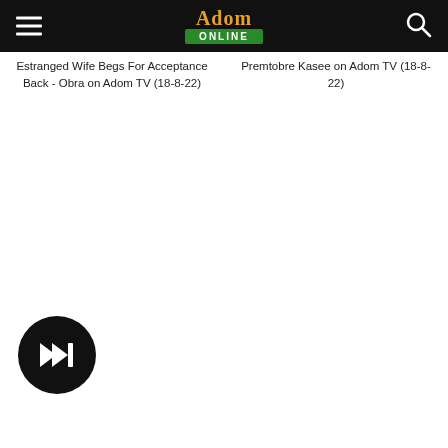Adom Online
Estranged Wife Begs For Acceptance Back - Obra on Adom TV (18-8-22)
Premtobre Kasee on Adom TV (18-8-22)
[Figure (other): Circular play button with forward skip icon on dark background]